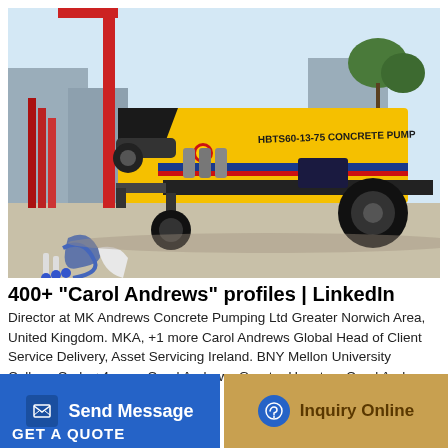[Figure (photo): Yellow HBTS60-13-75 concrete pump machine on a construction site, mounted on a trailer with large black wheels, with a crane visible in the background.]
400+ "Carol Andrews" profiles | LinkedIn
Director at MK Andrews Concrete Pumping Ltd Greater Norwich Area, United Kingdom. MKA, +1 more Carol Andrews Global Head of Client Service Delivery, Asset Servicing Ireland. BNY Mellon University College Cork, +4 more Carol Andrews Greater Houston. Carol Andrews Broker/Owner at
Send Message
Inquiry Online
GET A QUOTE